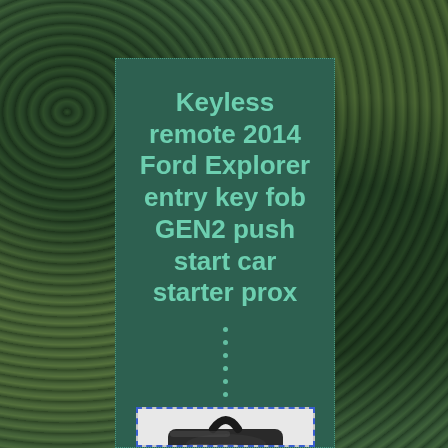Keyless remote 2014 Ford Explorer entry key fob GEN2 push start car starter prox
[Figure (photo): Photo of a car key fob / keyless entry remote, dark colored, shown close up against a light background. Partial view with the top portion of the fob visible.]